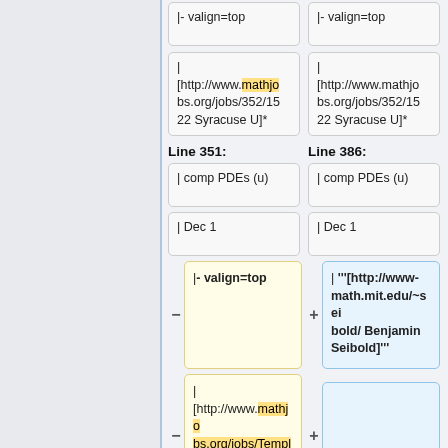|- valign=top
|- valign=top
|
[http://www.mathjobs.org/jobs/352/1522 Syracuse U]*
|
[http://www.mathjobs.org/jobs/352/1522 Syracuse U]*
Line 351:
Line 386:
| comp PDEs (u)
| comp PDEs (u)
| Dec 1
| Dec 1
|- valign=top
| '''[http://www-math.mit.edu/~seibold/ Benjamin Seibold]'''
|
[http://www.mathjobs.org/jobs/Temple/1010 Temple U]*
| comp PDEs, geom (t)